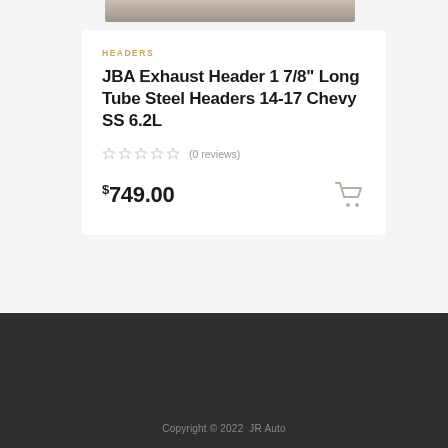[Figure (photo): Product image strip of JBA exhaust headers at top of page]
HEADERS
JBA Exhaust Header 1 7/8" Long Tube Steel Headers 14-17 Chevy SS 6.2L
★★★★★ (0 reviews)
$749.00
Copyright © 2022  JR Auto